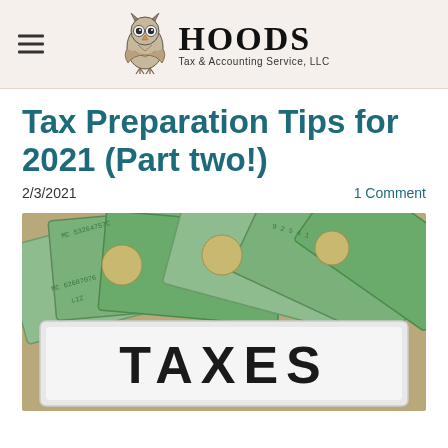HOODS Tax & Accounting Service, LLC
Tax Preparation Tips for 2021 (Part two!)
2/3/2021
1 Comment
[Figure (photo): Photo of US dollar bills fanned out with a white letter-board sign reading TAXES in bold black letters]